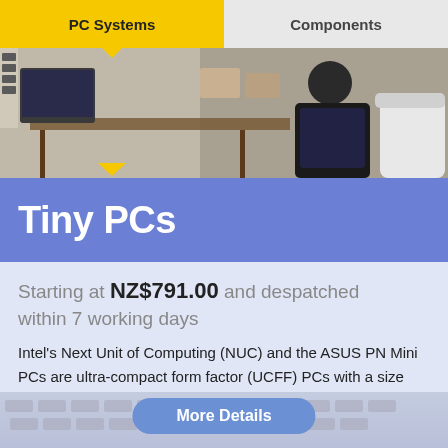PC Systems | Components
[Figure (photo): Person working at a desk with a computer in an industrial-style workspace]
Tiny PCs
Starting at NZ$791.00 and despatched within 7 working days
Intel's Next Unit of Computing (NUC) and the ASUS PN Mini PCs are ultra-compact form factor (UCFF) PCs with a size and capability that is hard to believe. These fully built systems are supplied with up to 64GB of RAM and all include space for at least one M.2 drive. Whichever version you opt for we guarantee you won't be disappointed.
More Details